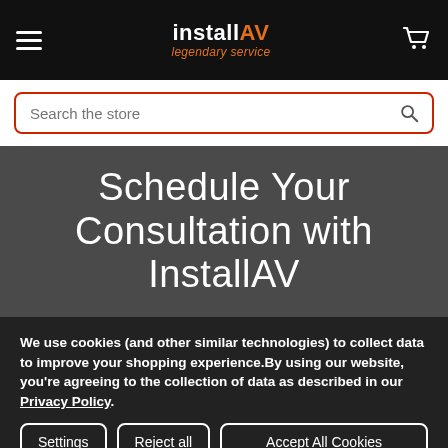install AV — legendary service
Search the store
Schedule Your Consultation with InstallAV
We use cookies (and other similar technologies) to collect data to improve your shopping experience.By using our website, you're agreeing to the collection of data as described in our Privacy Policy.
Settings | Reject all | Accept All Cookies